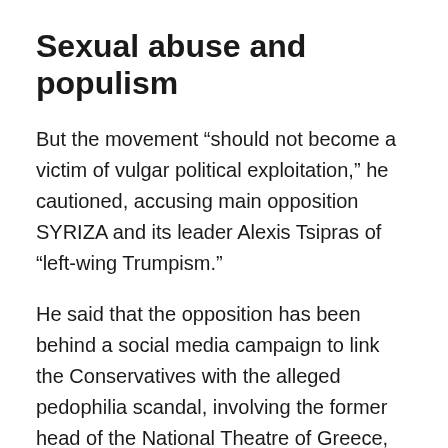Sexual abuse and populism
But the movement “should not become a victim of vulgar political exploitation,” he cautioned, accusing main opposition SYRIZA and its leader Alexis Tsipras of “left-wing Trumpism.”
He said that the opposition has been behind a social media campaign to link the Conservatives with the alleged pedophilia scandal, involving the former head of the National Theatre of Greece, Dimitris Lignadis.
“The liberating movement is becoming a field of vulgar populism and vague accusations aiming to